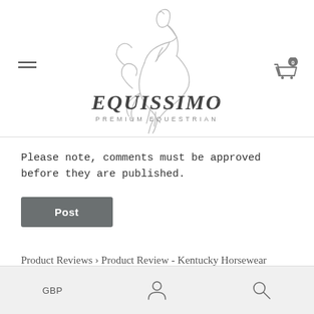[Figure (logo): Equissimo Premium Equestrian logo with line-art horse above stylized text]
Please note, comments must be approved before they are published.
Post
Product Reviews › Product Review - Kentucky Horsewear Show Rug by Rachael Skinner
GBP  [account icon]  [search icon]